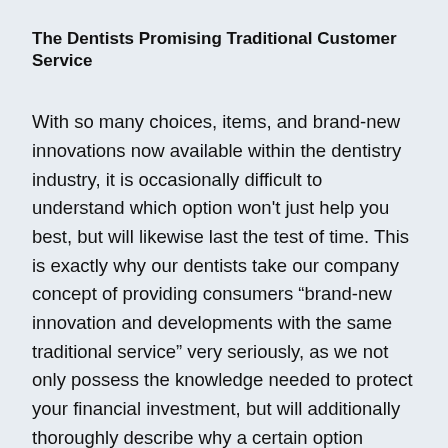The Dentists Promising Traditional Customer Service
With so many choices, items, and brand-new innovations now available within the dentistry industry, it is occasionally difficult to understand which option won't just help you best, but will likewise last the test of time. This is exactly why our dentists take our company concept of providing consumers “brand-new innovation and developments with the same traditional service” very seriously, as we not only possess the knowledge needed to protect your financial investment, but will additionally thoroughly describe why a certain option would best fit your needs. We realize that the transparency in